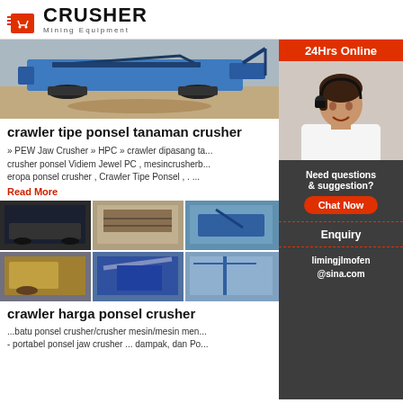[Figure (logo): Crusher Mining Equipment logo with red shopping bag icon and bold black CRUSHER text]
[Figure (photo): Blue crawler-type mobile crushing plant on rocky ground]
crawler tipe ponsel tanaman crusher
» PEW Jaw Crusher » HPC » crawler dipasang ta... crusher ponsel Vidiem Jewel PC , mesincrusherb... eropa ponsel crusher , Crawler Tipe Ponsel , . ...
Read More
[Figure (photo): Grid of images showing various crawler mobile crusher machines and industrial equipment]
crawler harga ponsel crusher
...batu ponsel crusher/crusher mesin/mesin men... - portabel ponsel jaw crusher ... dampak, dan Po...
[Figure (infographic): 24Hrs Online sidebar with customer service representative photo, Need questions & suggestion? Chat Now button, Enquiry link, limingjlmofen@sina.com email]